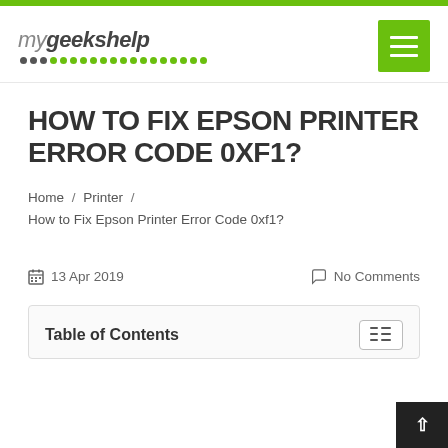mygeekshelp
HOW TO FIX EPSON PRINTER ERROR CODE 0XF1?
Home / Printer / How to Fix Epson Printer Error Code 0xf1?
13 Apr 2019    No Comments
Table of Contents